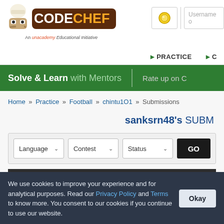[Figure (logo): CodeChef logo with chef hat icon, brown background, 'An unacademy Educational Initiative' tagline]
Username or... | PRACTICE | C...
Solve & Learn with Mentors | Rate up on C...
Home » Practice » Football » chintu1O1 » Submissions
sanksrn48's SUBMISSIONS
Language | Contest | Status | GO
| ID | Date/Time | Username |
| --- | --- | --- |
We use cookies to improve your experience and for analytical purposes. Read our Privacy Policy and Terms to know more. You consent to our cookies if you continue to use our website.